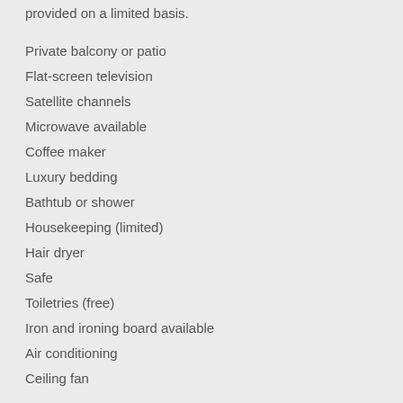provided on a limited basis.
Private balcony or patio
Flat-screen television
Satellite channels
Microwave available
Coffee maker
Luxury bedding
Bathtub or shower
Housekeeping (limited)
Hair dryer
Safe
Toiletries (free)
Iron and ironing board available
Air conditioning
Ceiling fan
Food & Drink
Condado Lagoon Villas at Paseo Caribe has a restaurant on site.